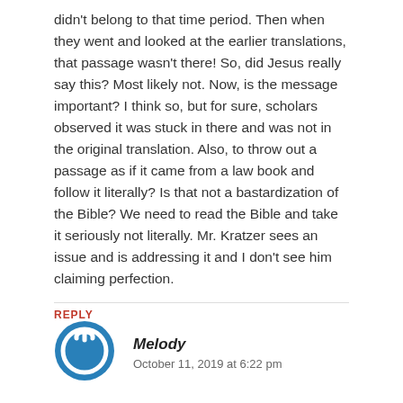didn't belong to that time period. Then when they went and looked at the earlier translations, that passage wasn't there! So, did Jesus really say this? Most likely not. Now, is the message important? I think so, but for sure, scholars observed it was stuck in there and was not in the original translation. Also, to throw out a passage as if it came from a law book and follow it literally? Is that not a bastardization of the Bible? We need to read the Bible and take it seriously not literally. Mr. Kratzer sees an issue and is addressing it and I don't see him claiming perfection.
REPLY
[Figure (other): Blue circular power/user avatar icon with white power symbol inside]
Melody
October 11, 2019 at 6:22 pm